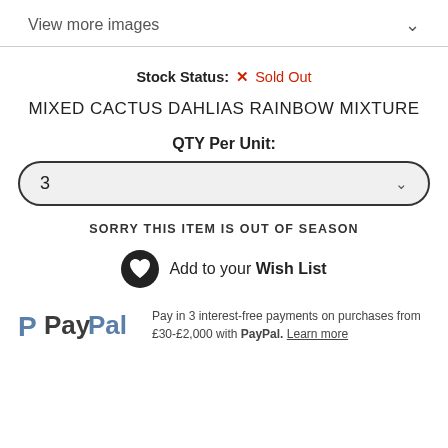View more images
Stock Status: ✗ Sold Out
MIXED CACTUS DAHLIAS RAINBOW MIXTURE
QTY Per Unit:
3
SORRY THIS ITEM IS OUT OF SEASON
Add to your Wish List
Pay in 3 interest-free payments on purchases from £30-£2,000 with PayPal. Learn more